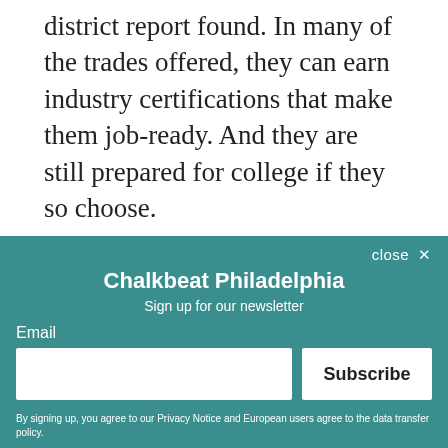district report found. In many of the trades offered, they can earn industry certifications that make them job-ready. And they are still prepared for college if they so choose.
“You can see evidence of the shift in the growth and investment post-secondary institutions are making in CTE,” Armstrong said.
Community College of Philadelphia, for instance, is scheduling an advanced manufacturing apprenticeship program in Philadelphia this fall.
[Figure (screenshot): Newsletter signup modal overlay for Chalkbeat Philadelphia with teal background, email input field, Subscribe button, and fine print about Privacy Notice.]